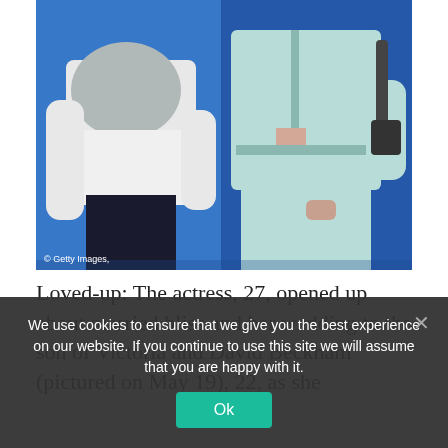[Figure (photo): Two people standing side by side against a blue background. Left person wears a white/grey sweatshirt and black shiny trousers. Right person wears a light blue/mint jacket and matching trousers with a crossbody bag.]
© Getty Images,
Loved-up: The actress, 27, opened up about married bliss and her wedding to the son of Victoria and David Beckham (pictured on May 19), 22, as she
We use cookies to ensure that we give you the best experience on our website. If you continue to use this site we will assume that you are happy with it.
Ok